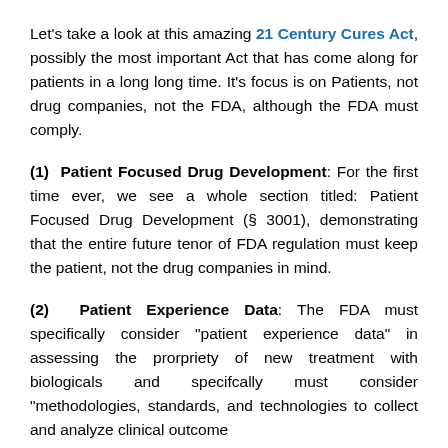Let’s take a look at this amazing 21 Century Cures Act, possibly the most important Act that has come along for patients in a long long time. It’s focus is on Patients, not drug companies, not the FDA, although the FDA must comply.
(1) Patient Focused Drug Development: For the first time ever, we see a whole section titled: Patient Focused Drug Development (§ 3001), demonstrating that the entire future tenor of FDA regulation must keep the patient, not the drug companies in mind.
(2) Patient Experience Data: The FDA must specifically consider “patient experience data” in assessing the prorpriety of new treatment with biologicals and specifcally must consider “methodologies, standards, and technologies to collect and analyze clinical outcome